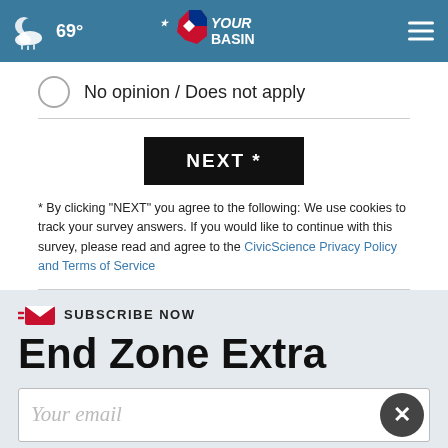69° YourBasin
No opinion / Does not apply
NEXT *
* By clicking "NEXT" you agree to the following: We use cookies to track your survey answers. If you would like to continue with this survey, please read and agree to the CivicScience Privacy Policy and Terms of Service
SUBSCRIBE NOW
End Zone Extra
Your email
[Figure (screenshot): Advertisement for Midland College: Make an Impact. Become a Teacher. Bachelor of Applied Science Early Childhood Education. www.midland.edu]